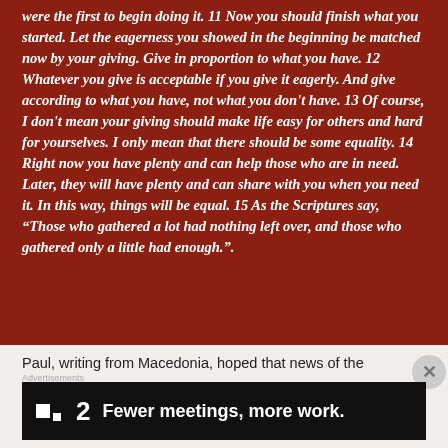were the first to begin doing it. 11 Now you should finish what you started. Let the eagerness you showed in the beginning be matched now by your giving. Give in proportion to what you have. 12 Whatever you give is acceptable if you give it eagerly. And give according to what you have, not what you don't have. 13 Of course, I don't mean your giving should make life easy for others and hard for yourselves. I only mean that there should be some equality. 14 Right now you have plenty and can help those who are in need. Later, they will have plenty and can share with you when you need it. In this way, things will be equal. 15 As the Scriptures say, “Those who gathered a lot had nothing left over, and those who gathered only a little had enough.”.
Paul, writing from Macedonia, hoped that news of the
[Figure (screenshot): Advertisement banner: dark background with two white squares logo, '2' numeral and text 'Fewer meetings, more work.']